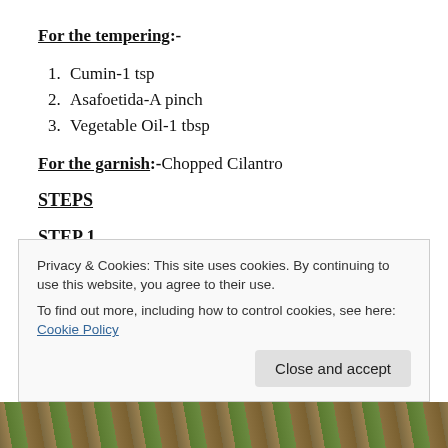For the tempering:-
Cumin-1 tsp
Asafoetida-A pinch
Vegetable Oil-1 tbsp
For the garnish:-Chopped Cilantro
STEPS
STEP 1
Privacy & Cookies: This site uses cookies. By continuing to use this website, you agree to their use.
To find out more, including how to control cookies, see here: Cookie Policy
[Figure (photo): Partial photo of food/garnish visible at the bottom of the page]